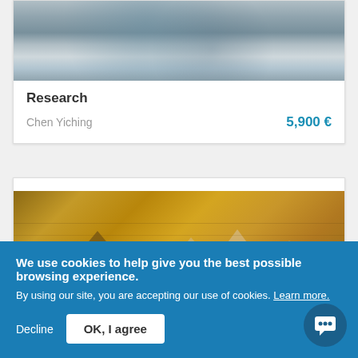[Figure (photo): Abstract painting with blue-grey tones, appears to show water or rain-like texture, part of the 'Research' artwork by Chen Yiching]
Research
Chen Yiching
5,900 €
[Figure (photo): Abstract painting with warm golden/brown tones showing geometric house-like shapes and architectural silhouettes]
We use cookies to help give you the best possible browsing experience.
By using our site, you are accepting our use of cookies. Learn more.
Decline
OK, I agree